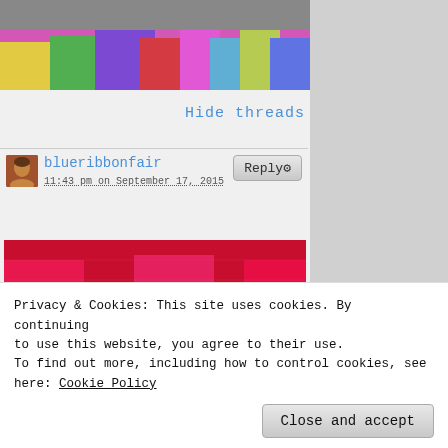[Figure (photo): Top banner with colorful ribbons/balloons in purple, green, yellow, red, blue colors]
Hide threads
[Figure (photo): Small circular avatar of a person (user blueribbonfair)]
blueribbonfair
11:43 pm on September 17, 2015
[Figure (photo): Close-up photo of red flowers or cross-stitch embroidery with red, pink, and dark green colors on a pixelated/textured background]
Privacy & Cookies: This site uses cookies. By continuing to use this website, you agree to their use.
To find out more, including how to control cookies, see here: Cookie Policy
Close and accept